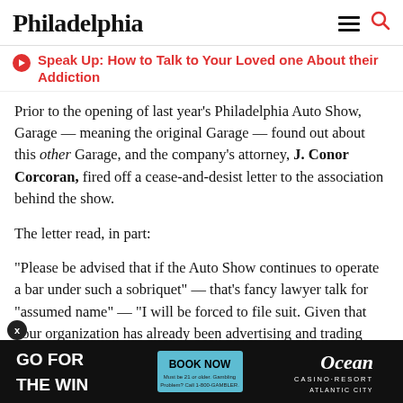Philadelphia
Speak Up: How to Talk to Your Loved one About their Addiction
Prior to the opening of last year’s Philadelphia Auto Show, Garage — meaning the original Garage — found out about this other Garage, and the company’s attorney, J. Conor Corcoran, fired off a cease-and-desist letter to the association behind the show.
The letter read, in part:
“Please be advised that if the Auto Show continues to operate a bar under such a sobriquet” — that’s fancy lawyer talk for “assumed name” — “I will be forced to file suit. Given that your organization has already been advertising and trading upon the good name and
[Figure (infographic): Ocean Casino Resort advertisement banner: black background with 'GO FOR THE WIN' in white bold text on the left, a teal 'BOOK NOW' button in the center with small disclaimer text below, and 'Ocean CASINO·RESORT ATLANTIC CITY' branding on the right in white italic text.]